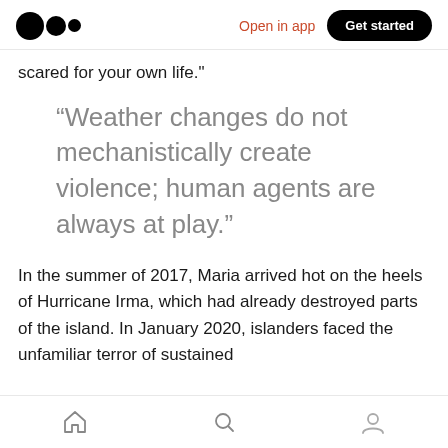Medium logo | Open in app | Get started
scared for your own life."
“Weather changes do not mechanistically create violence; human agents are always at play.”
In the summer of 2017, Maria arrived hot on the heels of Hurricane Irma, which had already destroyed parts of the island. In January 2020, islanders faced the unfamiliar terror of sustained
Home | Search | Profile